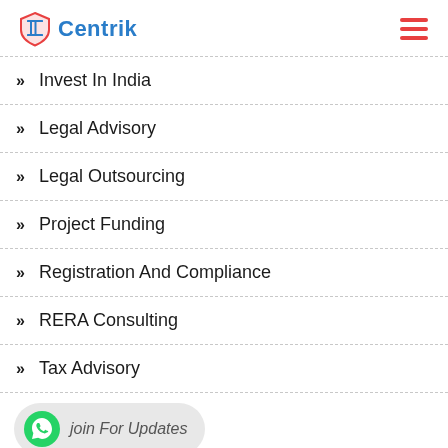[Figure (logo): Centrik logo with shield/pillar icon in red/orange and blue text]
Invest In India
Legal Advisory
Legal Outsourcing
Project Funding
Registration And Compliance
RERA Consulting
Tax Advisory
join For Updates